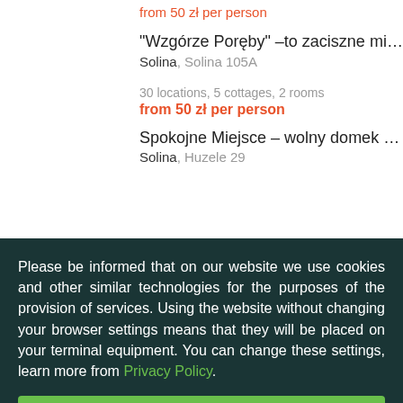from 50 zł per person
"Wzgórze Poręby" –to zaciszne mi…
Solina, Solina 105A
30 locations, 5 cottages, 2 rooms
from 50 zł per person
Spokojne Miejsce – wolny domek …
Solina, Huzele 29
Please be informed that on our website we use cookies and other similar technologies for the purposes of the provision of services. Using the website without changing your browser settings means that they will be placed on your terminal equipment. You can change these settings, learn more from Privacy Policy.
Close